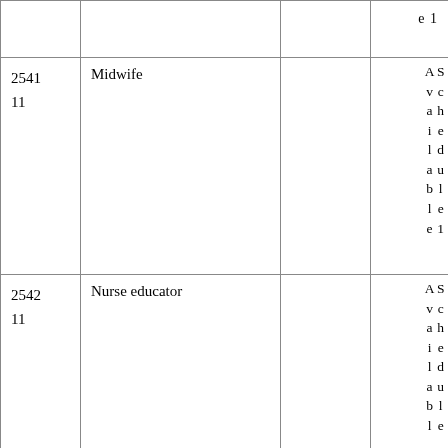| Code | Title | Description | Status / Schedule |
| --- | --- | --- | --- |
|  |  |  | e 1 |
| 2541
11 | Midwife |  | Available Schedule 1 |
| 2542
11 | Nurse educator |  | Available Schedule 1 |